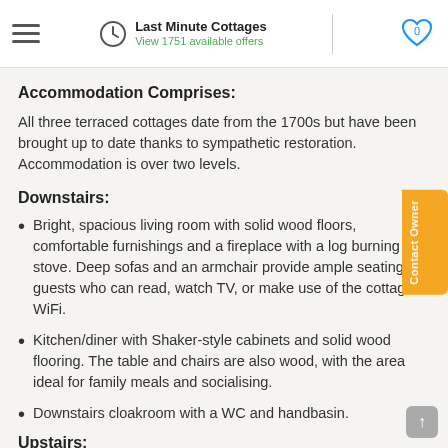Last Minute Cottages — View 1751 available offers
Accommodation Comprises:
All three terraced cottages date from the 1700s but have been brought up to date thanks to sympathetic restoration. Accommodation is over two levels.
Downstairs:
Bright, spacious living room with solid wood floors, comfortable furnishings and a fireplace with a log burning stove. Deep sofas and an armchair provide ample seating for guests who can read, watch TV, or make use of the cottage's WiFi.
Kitchen/diner with Shaker-style cabinets and solid wood flooring. The table and chairs are also wood, with the area ideal for family meals and socialising.
Downstairs cloakroom with a WC and handbasin.
Upstairs: